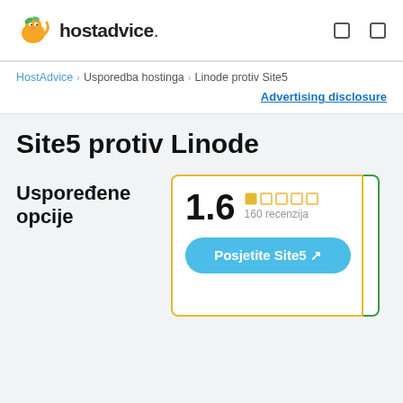hostadvice. [navigation icons]
HostAdvice › Usporedba hostinga › Linode protiv Site5
Advertising disclosure
Site5 protiv Linode
Uspoređene opcije
1.6  160 recenzija
Posjetite Site5 ↗